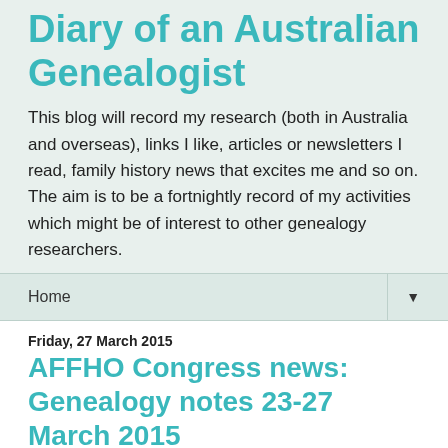Diary of an Australian Genealogist
This blog will record my research (both in Australia and overseas), links I like, articles or newsletters I read, family history news that excites me and so on. The aim is to be a fortnightly record of my activities which might be of interest to other genealogy researchers.
Home
Friday, 27 March 2015
AFFHO Congress news: Genealogy notes 23-27 March 2015
It's not quite a week since the last Diary but I thought there should be at least one Diary post during AFFHO Congress 2015. I'm still adjusting to the new time zone and waking up late as my body is programmed to wake at the same time each day. But I'm putting it to bed later than usual so I could be a bit of a zombie today.